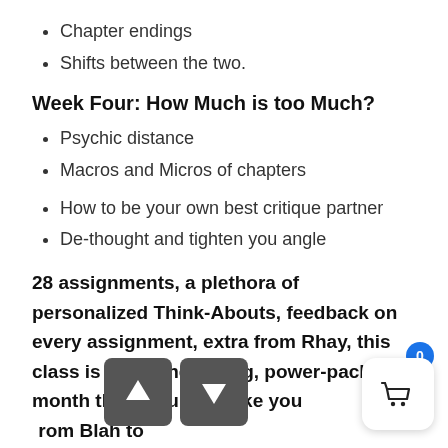Chapter endings
Shifts between the two.
Week Four: How Much is too Much?
Psychic distance
Macros and Micros of chapters
How to be your own best critique partner
De-thought and tighten you angle
28 assignments, a plethora of personalized Think-Abouts, feedback on every assignment, extra from Rhay, this class is a rocking rolling, power-packed month that is sure to take your writing from Blah to Beats.